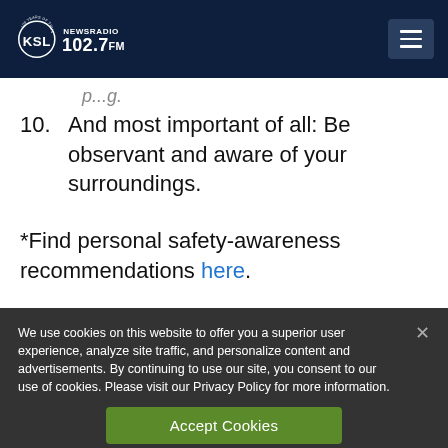KSL NewsRadio 102.7FM – 100 Years of Trust
10. And most important of all: Be observant and aware of your surroundings.
*Find personal safety-awareness recommendations here.
We use cookies on this website to offer you a superior user experience, analyze site traffic, and personalize content and advertisements. By continuing to use our site, you consent to our use of cookies. Please visit our Privacy Policy for more information.
Accept Cookies